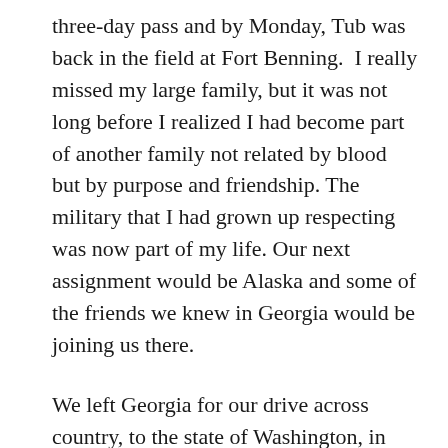three-day pass and by Monday, Tub was back in the field at Fort Benning.  I really missed my large family, but it was not long before I realized I had become part of another family not related by blood but by purpose and friendship. The military that I had grown up respecting was now part of my life. Our next assignment would be Alaska and some of the friends we knew in Georgia would be joining us there.
We left Georgia for our drive across country, to the state of Washington, in late winter; there we would fly to Alaska. After stops in New Jersey and Michigan to visit our families we began our trek West.